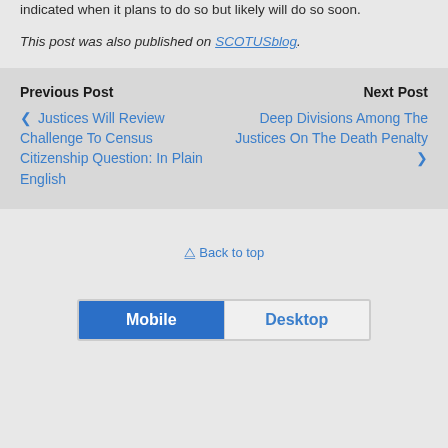indicated when it plans to do so but likely will do so soon.
This post was also published on SCOTUSblog.
Previous Post
❮ Justices Will Review Challenge To Census Citizenship Question: In Plain English
Next Post
Deep Divisions Among The Justices On The Death Penalty ❯
⇑ Back to top
Mobile  Desktop